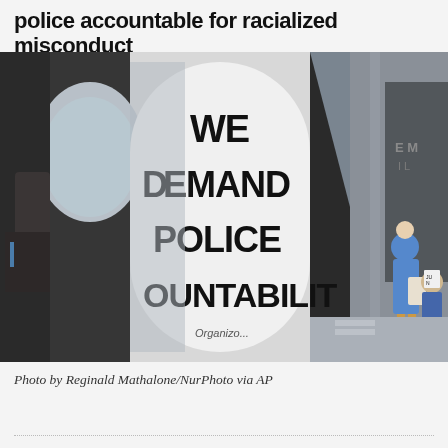police accountable for racialized misconduct
[Figure (photo): Photo showing protesters holding a sign reading 'WE DEMAND POLICE ACCOUNTABILITY' visible through large cutout letters spelling 'POV'. The image shows a protest scene with people carrying signs outside a building.]
Photo by Reginald Mathalone/NurPhoto via AP